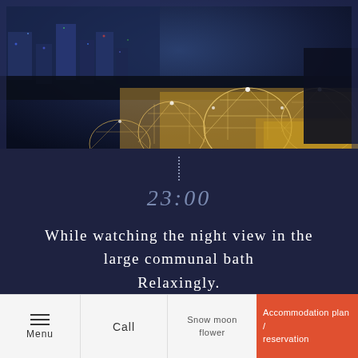[Figure (photo): Aerial night view of illuminated geodesic dome structures on a rooftop with city lights in background]
23:00
While watching the night view in the large communal bath Relaxingly.
Menu | Call | Snow moon flower | Accommodation plan / reservation